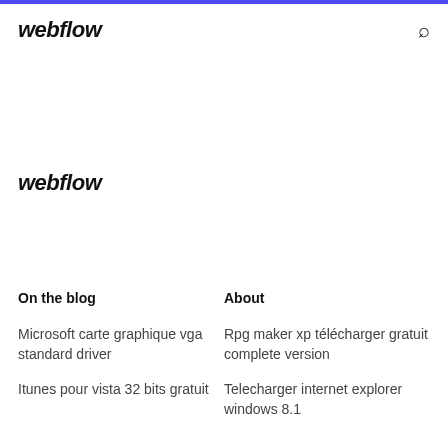webflow
webflow
On the blog
About
Microsoft carte graphique vga standard driver
Rpg maker xp télécharger gratuit complete version
Itunes pour vista 32 bits gratuit
Telecharger internet explorer windows 8.1